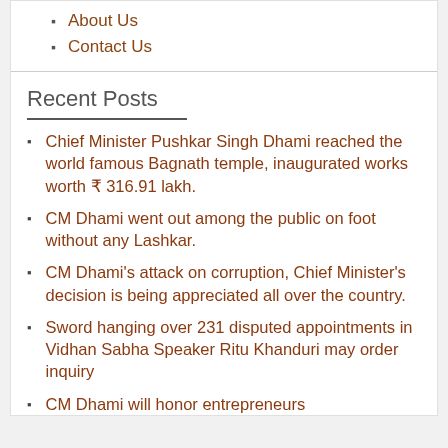About Us
Contact Us
Recent Posts
Chief Minister Pushkar Singh Dhami reached the world famous Bagnath temple, inaugurated works worth ₹ 316.91 lakh.
CM Dhami went out among the public on foot without any Lashkar.
CM Dhami's attack on corruption, Chief Minister's decision is being appreciated all over the country.
Sword hanging over 231 disputed appointments in Vidhan Sabha Speaker Ritu Khanduri may order inquiry
CM Dhami will honor entrepreneurs